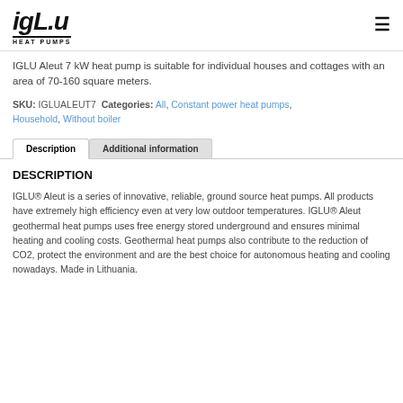[Figure (logo): igLu HEAT PUMPS logo — stylized italic text with underline bar]
IGLU Aleut 7 kW heat pump is suitable for individual houses and cottages with an area of 70-160 square meters.
SKU: IGLUALEUT7 Categories: All, Constant power heat pumps, Household, Without boiler
Description | Additional information (tabs)
DESCRIPTION
IGLU® Aleut is a series of innovative, reliable, ground source heat pumps. All products have extremely high efficiency even at very low outdoor temperatures. IGLU® Aleut geothermal heat pumps uses free energy stored underground and ensures minimal heating and cooling costs. Geothermal heat pumps also contribute to the reduction of CO2, protect the environment and are the best choice for autonomous heating and cooling nowadays. Made in Lithuania.